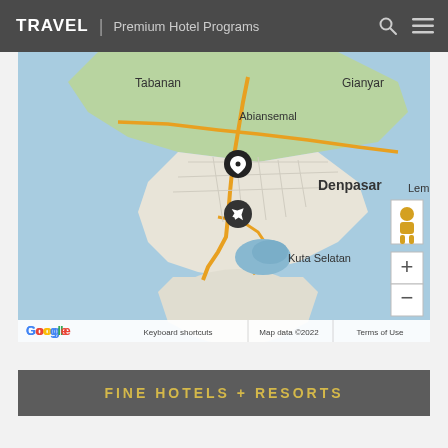TRAVEL | Premium Hotel Programs
[Figure (map): Google Maps view showing Bali, Indonesia region including Tabanan, Gianyar, Abiansemal, Denpasar, and Kuta Selatan. Two map pins shown: one location pin near Denpasar and one airport pin (with airplane icon). Map controls include pegman, zoom in (+) and zoom out (-) buttons. Google logo and map data copyright 2022 shown at bottom.]
FINE HOTELS + RESORTS